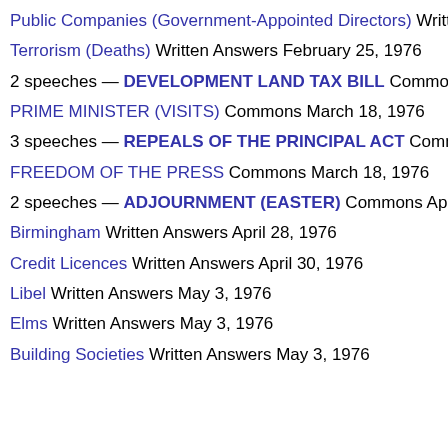Public Companies (Government-Appointed Directors) Written A…
Terrorism (Deaths) Written Answers February 25, 1976
2 speeches — DEVELOPMENT LAND TAX BILL Commons M…
PRIME MINISTER (VISITS) Commons March 18, 1976
3 speeches — REPEALS OF THE PRINCIPAL ACT Common…
FREEDOM OF THE PRESS Commons March 18, 1976
2 speeches — ADJOURNMENT (EASTER) Commons April 1…
Birmingham Written Answers April 28, 1976
Credit Licences Written Answers April 30, 1976
Libel Written Answers May 3, 1976
Elms Written Answers May 3, 1976
Building Societies Written Answers May 3, 1976